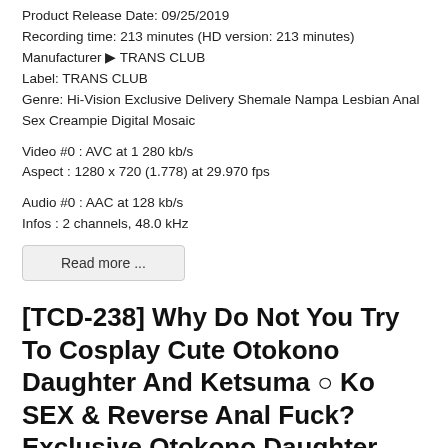Product Release Date: 09/25/2019
Recording time: 213 minutes (HD version: 213 minutes)
Manufacturer → TRANS CLUB
Label: TRANS CLUB
Genre: Hi-Vision Exclusive Delivery Shemale Nampa Lesbian Anal Sex Creampie Digital Mosaic
Video #0 : AVC at 1 280 kb/s
Aspect : 1280 x 720 (1.778) at 29.970 fps
Audio #0 : AAC at 128 kb/s
Infos : 2 channels, 48.0 kHz
Read more ...
[TCD-238] Why Do Not You Try To Cosplay Cute Otokono Daughter And Ketsuma ○ Ko SEX & Reverse Anal Fuck? Exclusive Otokono Daughter Actress Himeyur
Product Release Date: 09/25/2019
Recording time: 149 minutes (HD version: 149 minutes)
Cast: Himeyuri